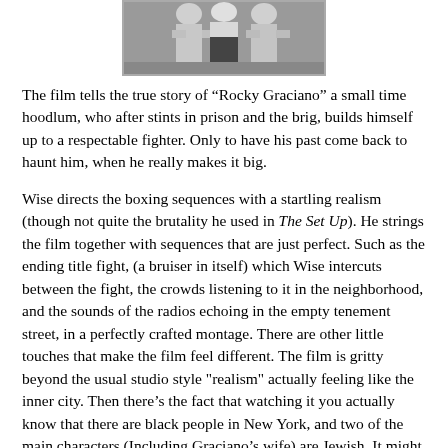[Figure (photo): Black and white photograph of people, partially visible at top of page]
The film tells the true story of “Rocky Graciano” a small time hoodlum, who after stints in prison and the brig, builds himself up to a respectable fighter. Only to have his past come back to haunt him, when he really makes it big.
Wise directs the boxing sequences with a startling realism (though not quite the brutality he used in The Set Up). He strings the film together with sequences that are just perfect. Such as the ending title fight, (a bruiser in itself) which Wise intercuts between the fight, the crowds listening to it in the neighborhood, and the sounds of the radios echoing in the empty tenement street, in a perfectly crafted montage. There are other little touches that make the film feel different. The film is gritty beyond the usual studio style "realism" actually feeling like the inner city. Then there's the fact that watching it you actually know that there are black people in New York, and two of the main characters (Including Graciano's wife) are Jewish. It might not be much now, but in the era of